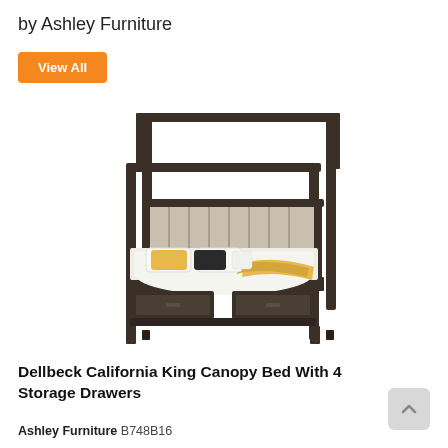by Ashley Furniture
View All
[Figure (photo): A Dellbeck California King Canopy Bed with 4 Storage Drawers by Ashley Furniture. Dark wood four-poster canopy frame with upholstered headboard, white and yellow bedding, black and white pillows, and four storage drawers under the bed.]
Dellbeck California King Canopy Bed With 4 Storage Drawers
Ashley Furniture B748B16